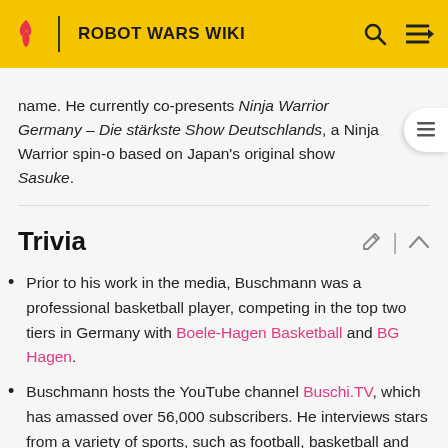ROBOT WARS WIKI
name. He currently co-presents Ninja Warrior Germany – Die stärkste Show Deutschlands, a Ninja Warrior spin-off based on Japan's original show Sasuke.
Trivia
Prior to his work in the media, Buschmann was a professional basketball player, competing in the top two tiers in Germany with Boele-Hagen Basketball and BG Hagen.
Buschmann hosts the YouTube channel Buschi.TV, which has amassed over 56,000 subscribers. He interviews stars from a variety of sports, such as football, basketball and canoeing.